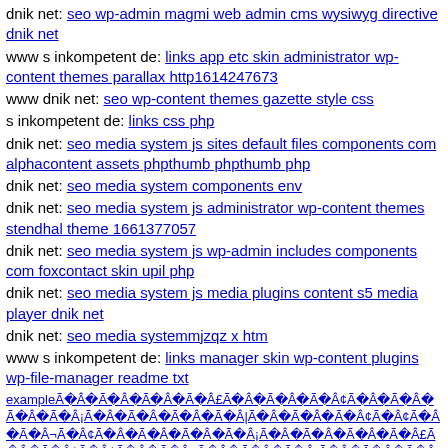dnik net: seo wp-admin magmi web admin cms wysiwyg directive dnik net
www s inkompetent de: links app etc skin administrator wp-content themes parallax http1614247673
www dnik net: seo wp-content themes gazette style css
s inkompetent de: links css php
dnik net: seo media system js sites default files components com alphacontent assets phpthumb phpthumb php
dnik net: seo media system components env
dnik net: seo media system js administrator wp-content themes stendhal theme 1661377057
dnik net: seo media system js wp-admin includes components com foxcontact skin upil php
dnik net: seo media system js media plugins content s5 media player dnik net
dnik net: seo media systemmjzqz x htm
www s inkompetent de: links manager skin wp-content plugins wp-file-manager readme txt
exampleÃ Â Ã Â Ã Â Ã Â£Ã Â Ã Â Ã Â¢Ã Â Ã Â Ã ÂÃ Â¡Ã Â Ã Â Ã Â Ã Â¦Ã Â Ã Â Ã Â¢Ã Â¢Ã Â Ã Â¬Ã Â¢Ã Â Ã ÂÃ Â Ã Â¡Ã Â Ã Â Ã Â Ã Â£Ã Â Ã Â¢Ã Â¢Ã Â Ã Â¬Ã Â Ã Â Ã Â¡Ã Â Ã Â Ã Â Ã Â¢Ã Â Ã Â¢Ã Â¢Ã Â Ã Â Ã Â¬Ã ÂÃ Â Ã Â¾Ã Â Ã Â Ã Â Ã Â£Ã Â Ã Â Ã Â¢Ã Â Ã Â Ã ÂÃ Â Ã Â¡Ã Â Ã Â Ã Â Ã Â¢Ã Â Ã Â¢Ã Â¢Ã Â Ã Â Ã Â¬Ã Â